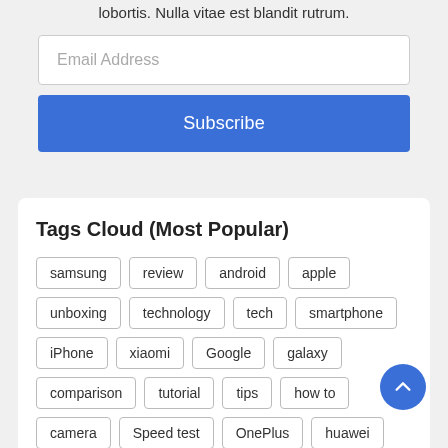lobortis. Nulla vitae est blandit rutrum.
Email Address
Subscribe
Tags Cloud (Most Popular)
samsung
review
android
apple
unboxing
technology
tech
smartphone
iPhone
xiaomi
Google
galaxy
comparison
tutorial
tips
how to
camera
Speed test
OnePlus
huawei
to
How
samsung galaxy
Settings